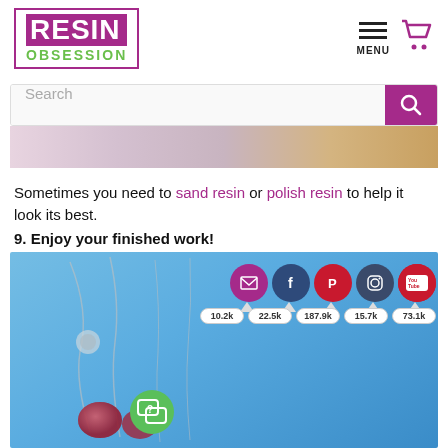[Figure (logo): Resin Obsession logo — purple box with white RESIN text and green OBSESSION text]
[Figure (screenshot): Navigation icons: hamburger menu and purple shopping cart]
[Figure (screenshot): Search bar with purple search button]
[Figure (photo): Partial banner photo showing pink and tan/wood background]
Sometimes you need to sand resin or polish resin to help it look its best.
9. Enjoy your finished work!
[Figure (photo): Blue background with silver jewelry chains and red glittery resin pendants; social media icons overlay: email (10.2k), Facebook (22.5k), Pinterest (187.9k), Instagram (15.7k), YouTube (73.1k); green chat bubble icon]